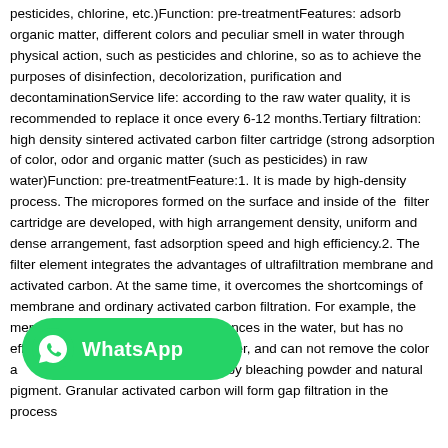pesticides, chlorine, etc.)Function: pre-treatmentFeatures: adsorb organic matter, different colors and peculiar smell in water through physical action, such as pesticides and chlorine, so as to achieve the purposes of disinfection, decolorization, purification and decontaminationService life: according to the raw water quality, it is recommended to replace it once every 6-12 months.Tertiary filtration: high density sintered activated carbon filter cartridge (strong adsorption of color, odor and organic matter (such as pesticides) in raw water)Function: pre-treatmentFeature:1. It is made by high-density process. The micropores formed on the surface and inside of the filter cartridge are developed, with high arrangement density, uniform and dense arrangement, fast adsorption speed and high efficiency.2. The filter element integrates the advantages of ultrafiltration membrane and activated carbon. At the same time, it overcomes the shortcomings of membrane and ordinary activated carbon filtration. For example, the membrane only intercepts the substances in the water, but has no effect on color in the water, and can not remove the color and the color brought by bleaching powder and natural pigment. Granular activated carbon will form gap filtration in the process
[Figure (logo): WhatsApp green rounded badge with white WhatsApp logo icon and white text 'WhatsApp']